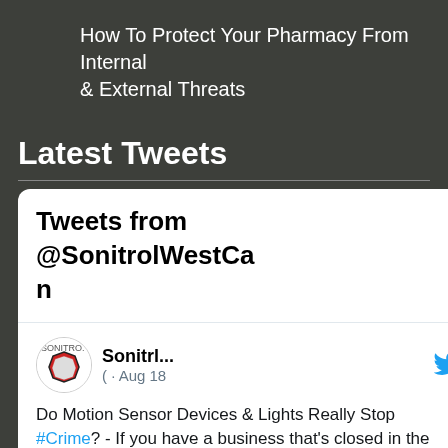How To Protect Your Pharmacy From Internal & External Threats
Latest Tweets
[Figure (screenshot): Embedded Twitter/X widget showing tweets from @SonitrolWestCan. Displays a tweet with Sonitrol logo avatar, username 'Sonitrl...' and date '· Aug 18', with tweet text: 'Do Motion Sensor Devices & Lights Really Stop #Crime? - If you have a business that's closed in the evenings, you may have considered motion sensor lights to help']